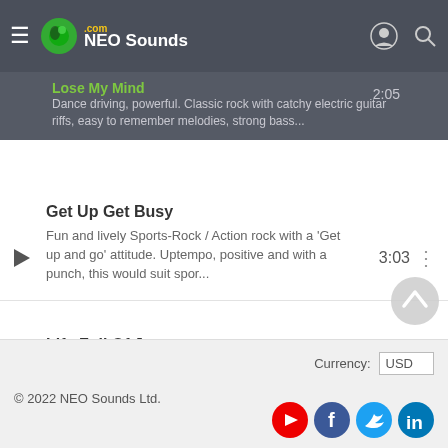NEO Sounds .com
Lose My Mind (partial) - 2:05 - Dance driving, powerful. Classic rock with catchy electric guitar riffs, easy to remember melodies, strong bass...
Get Up Get Busy
Fun and lively Sports-Rock / Action rock with a 'Get up and go' attitude. Uptempo, positive and with a punch, this would suit spor...
3:03
Life Full Of Joy
Inspiring and driving positive Pop-Rock piece featuring Electric guitars, bass guitar, percussion and upbeat drums. Energetic and ...
2:15
© 2022 NEO Sounds Ltd. Currency: USD